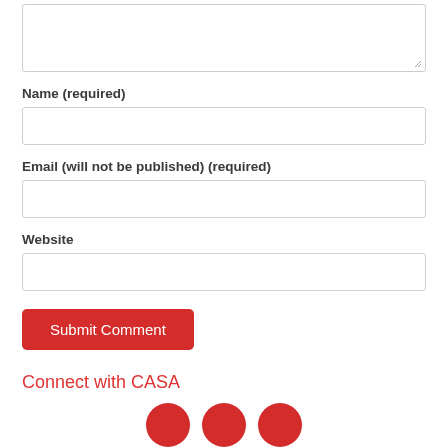[Figure (screenshot): Textarea input box (comment field) with resize handle in bottom right corner]
Name (required)
[Figure (screenshot): Name input field (empty text box)]
Email (will not be published) (required)
[Figure (screenshot): Email input field (empty text box)]
Website
[Figure (screenshot): Website input field (empty text box)]
[Figure (screenshot): Submit Comment button (red rounded rectangle)]
Connect with CASA
[Figure (illustration): Three red circular social media icons partially visible at bottom of page]